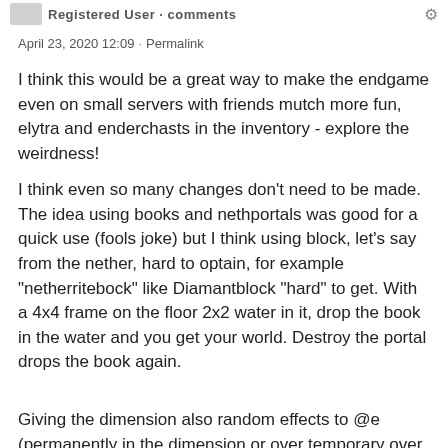Registered User · comments
April 23, 2020 12:09 · Permalink
I think this would be a great way to make the endgame even on small servers with friends mutch more fun, elytra and enderchasts in the inventory - explore the weirdness!
I think even so many changes don't need to be made. The idea using books and nethportals was good for a quick use (fools joke) but I think using block, let's say from the nether, hard to optain, for example "netherritebock" like Diamantblock "hard" to get. With a 4x4 frame on the floor 2x2 water in it, drop the book in the water and you get your world. Destroy the portal drops the book again.
Giving the dimension also random effects to @e (permanently in the dimension or over temporary over